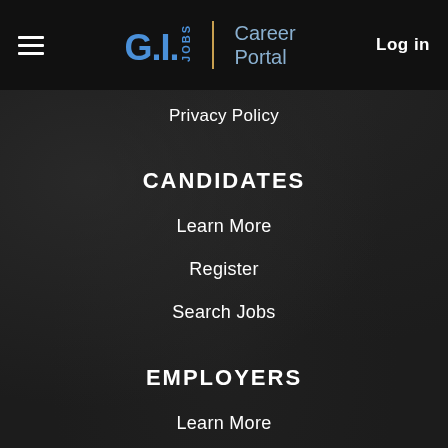G.I. JOBS | Career Portal  Log in
Privacy Policy
CANDIDATES
Learn More
Register
Search Jobs
EMPLOYERS
Learn More
Post a Job